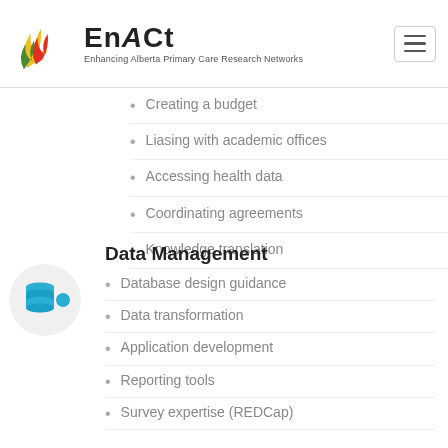[Figure (logo): EnACt logo - Enhancing Alberta Primary Care Research Networks, with stylized flame/leaf graphic in yellow, red, and green]
Creating a budget
Liasing with academic offices
Accessing health data
Coordinating agreements
Knowledge translation
[Figure (illustration): Blue database stack icon with a blue dot, inside a light grey circle]
Data Management
Database design guidance
Data transformation
Application development
Reporting tools
Survey expertise (REDCap)
[Figure (illustration): Blue gear/cog icons with a blue dot, inside a light grey circle (partially visible)]
Cognitive Task Analysis
Qualitative methods revealing the thinking involved in...